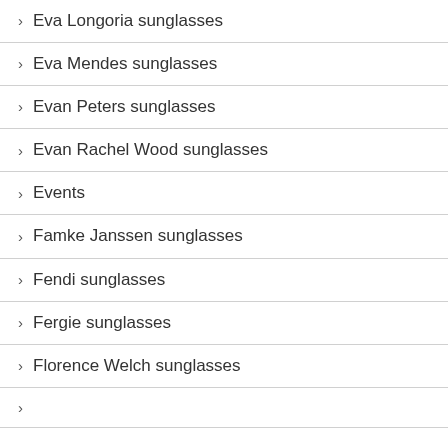Eva Longoria sunglasses
Eva Mendes sunglasses
Evan Peters sunglasses
Evan Rachel Wood sunglasses
Events
Famke Janssen sunglasses
Fendi sunglasses
Fergie sunglasses
Florence Welch sunglasses
...